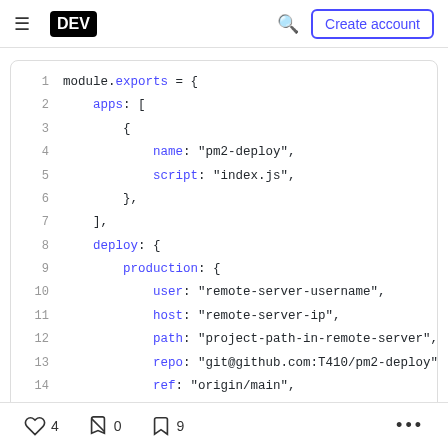DEV  Create account
[Figure (screenshot): Code block showing PM2 deploy configuration in JavaScript with syntax highlighting. Lines 1-14 visible showing module.exports with apps array and deploy production settings.]
4  0  9  ...